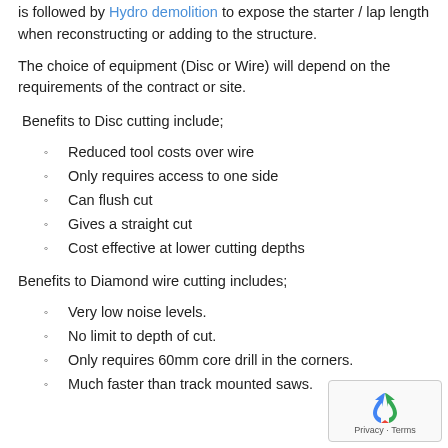is followed by Hydro demolition to expose the starter / lap length when reconstructing or adding to the structure.
The choice of equipment (Disc or Wire) will depend on the requirements of the contract or site.
Benefits to Disc cutting include;
Reduced tool costs over wire
Only requires access to one side
Can flush cut
Gives a straight cut
Cost effective at lower cutting depths
Benefits to Diamond wire cutting includes;
Very low noise levels.
No limit to depth of cut.
Only requires 60mm core drill in the corners.
Much faster than track mounted saws.